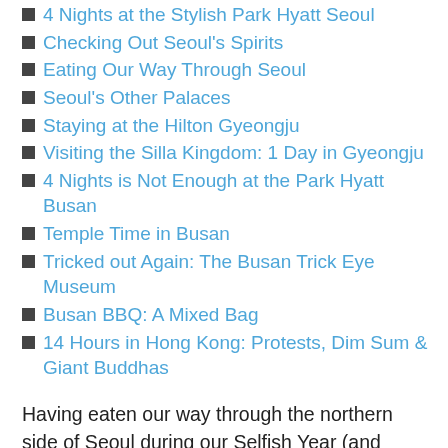4 Nights at the Stylish Park Hyatt Seoul
Checking Out Seoul's Spirits
Eating Our Way Through Seoul
Seoul's Other Palaces
Staying at the Hilton Gyeongju
Visiting the Silla Kingdom: 1 Day in Gyeongju
4 Nights is Not Enough at the Park Hyatt Busan
Temple Time in Busan
Tricked out Again: The Busan Trick Eye Museum
Busan BBQ: A Mixed Bag
14 Hours in Hong Kong: Protests, Dim Sum & Giant Buddhas
Having eaten our way through the northern side of Seoul during our Selfish Year (and because Mrs. Selfish was less mobile this time around), we decided to try some of the eats on the Gangnam side of Seoul.